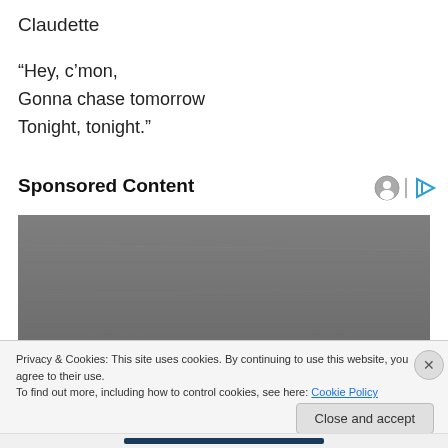Claudette
“Hey, c’mon,
Gonna chase tomorrow
Tonight, tonight.”
Sponsored Content
[Figure (photo): Top portion of a person's head with dark gray/silver hair against a gray background, partially visible]
Privacy & Cookies: This site uses cookies. By continuing to use this website, you agree to their use.
To find out more, including how to control cookies, see here: Cookie Policy
Close and accept